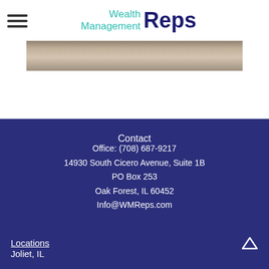Wealth Management Reps
[Figure (photo): Horizontal photo strip showing an interior/exterior architectural scene in muted beige and brown tones]
Contact
Office: (708) 687-9217
14930 South Cicero Avenue, Suite 1B
PO Box 253
Oak Forest, IL 60452
Info@WMReps.com
Locations
Joliet, IL